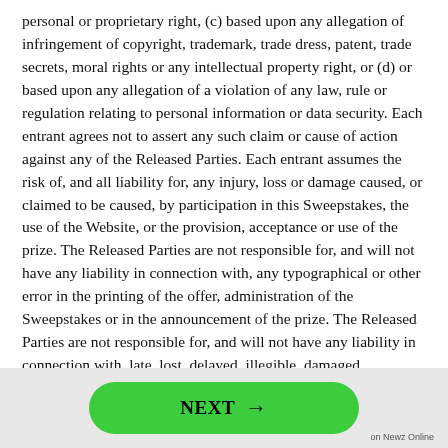personal or proprietary right, (c) based upon any allegation of infringement of copyright, trademark, trade dress, patent, trade secrets, moral rights or any intellectual property right, or (d) or based upon any allegation of a violation of any law, rule or regulation relating to personal information or data security. Each entrant agrees not to assert any such claim or cause of action against any of the Released Parties. Each entrant assumes the risk of, and all liability for, any injury, loss or damage caused, or claimed to be caused, by participation in this Sweepstakes, the use of the Website, or the provision, acceptance or use of the prize. The Released Parties are not responsible for, and will not have any liability in connection with, any typographical or other error in the printing of the offer, administration of the Sweepstakes or in the announcement of the prize. The Released Parties are not responsible for, and will not have any liability in connection with, late, lost, delayed, illegible, damaged, corrupted or